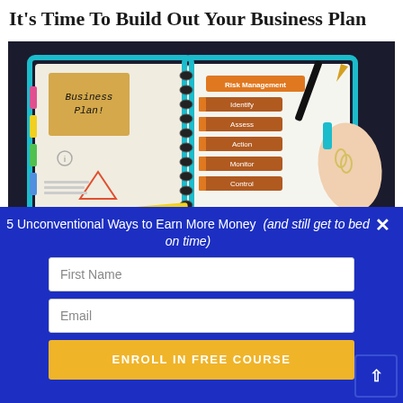It’s Time To Build Out Your Business Plan
[Figure (illustration): Illustration of an open spiral-bound planner/notebook on a dark background. The left page has a sticky note reading 'Business Plan!' and small diagrams. The right page has orange tabs labeled Risk Management, Identify, Assess, Action, Monitor, Control. A pen rests on the notebook and a hand points at it. A yellow pencil is in front.]
5 Unconventional Ways to Earn More Money  (and still get to bed on time)
First Name
Email
ENROLL IN FREE COURSE